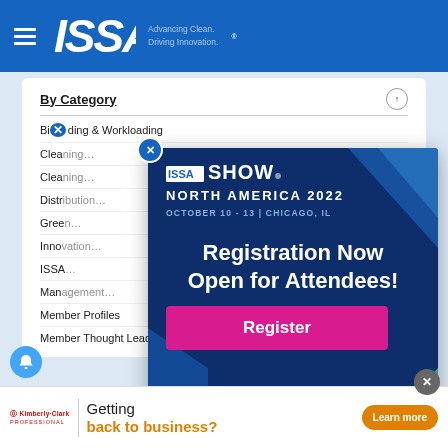ISSA — Advancing Clean. Driving Innovation.
By Category
Bidding & Workloading
Cleaning (partially visible)
Cleaning (partially visible)
Distribution (partially visible)
Green (partially visible)
Innovation (partially visible)
ISSA (partially visible)
Management (partially visible)
Member Profiles
Member Thought Leadership
[Figure (infographic): ISSA Show North America 2022 popup advertisement. October 10-13, Chicago IL. Registration Now Open for Attendees! Register button in pink.]
[Figure (infographic): Kimberly-Clark Professional bottom banner ad: Getting back to business? Learn more button in orange.]